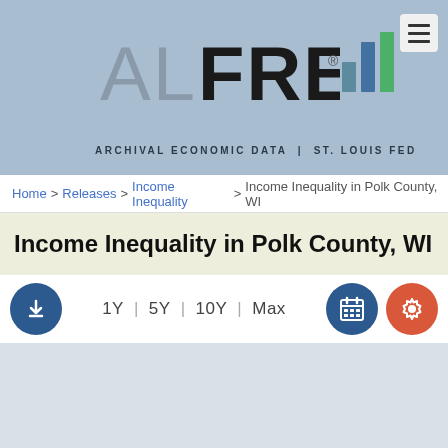[Figure (logo): ALFRED (Archival Economic Data | St. Louis Fed) logo with bar chart icon on blue background header]
Home > Releases > Income Inequality > Income Inequality in Polk County, WI
Income Inequality in Polk County, WI
[Figure (screenshot): Chart controls bar with download button, time range selectors (1Y | 5Y | 10Y | Max), calendar button, and settings button]
[Figure (other): Loading spinner on light blue chart area background]